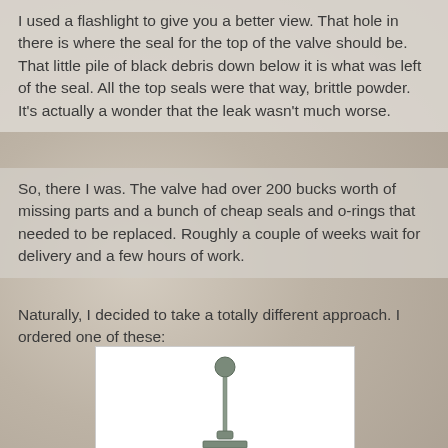I used a flashlight to give you a better view. That hole in there is where the seal for the top of the valve should be. That little pile of black debris down below it is what was left of the seal. All the top seals were that way, brittle powder. It's actually a wonder that the leak wasn't much worse.
So, there I was. The valve had over 200 bucks worth of missing parts and a bunch of cheap seals and o-rings that needed to be replaced. Roughly a couple of weeks wait for delivery and a few hours of work.
Naturally, I decided to take a totally different approach. I ordered one of these:
[Figure (photo): A valve or plumbing component with a ball on top of a stem, above a finned base, shown against a white background.]